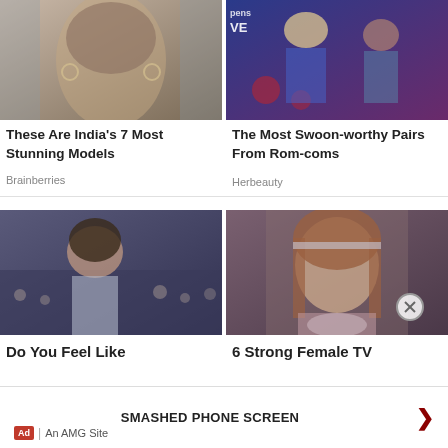[Figure (photo): Portrait photo of an Indian woman model with short dark hair, large hoop earrings, with a city skyline in the background]
These Are India's 7 Most Stunning Models
Brainberries
[Figure (photo): Two people on a TV show set with blue lighting, a blonde woman in a blue dress and a dark-haired man in a blue shirt]
The Most Swoon-worthy Pairs From Rom-coms
Herbeauty
[Figure (photo): Woman with dark hair at a crowded movie premiere or fan event, wearing a silver/grey dress]
Do You Feel Like
[Figure (photo): Young girl with long brown hair and a headband, in a pink patterned top, looking serious]
6 Strong Female TV
SMASHED PHONE SCREEN
Ad | An AMG Site